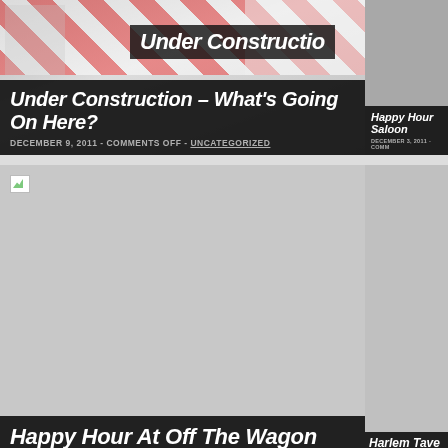[Figure (photo): Under construction photo with barrier tape and sign overlay]
Under Construction – What's Going On Here?
DECEMBER 9, 2011 - COMMENTS OFF - UNCATEGORIZED
[Figure (photo): Happy Hour At Saloon - partial card on right]
Happy Hour Saloon
DECEMBER 3, 2011 - COMM...
[Figure (photo): Broken image placeholder for Happy Hour At Off The Wagon]
Happy Hour At Off The Wagon
DECEMBER 3, 2011 - COMMENTS OFF - UNCATEGORIZED
[Figure (photo): Harlem Tave... partial card on right side]
Harlem Tave...
OCTOBER 10, 2011 - COMM...
[Figure (photo): Dark/black image at bottom left]
[Figure (photo): Broken image at bottom right]